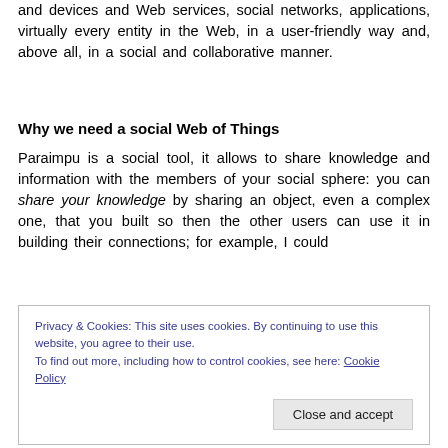and devices and Web services, social networks, applications, virtually every entity in the Web, in a user-friendly way and, above all, in a social and collaborative manner.
Why we need a social Web of Things
Paraimpu is a social tool, it allows to share knowledge and information with the members of your social sphere: you can share your knowledge by sharing an object, even a complex one, that you built so then the other users can use it in building their connections; for example, I could
Privacy & Cookies: This site uses cookies. By continuing to use this website, you agree to their use.
To find out more, including how to control cookies, see here: Cookie Policy
Close and accept